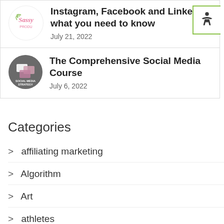Instagram, Facebook and LinkedIn what you need to know
July 21, 2022
The Comprehensive Social Media Course
July 6, 2022
Categories
affiliating marketing
Algorithm
Art
athletes